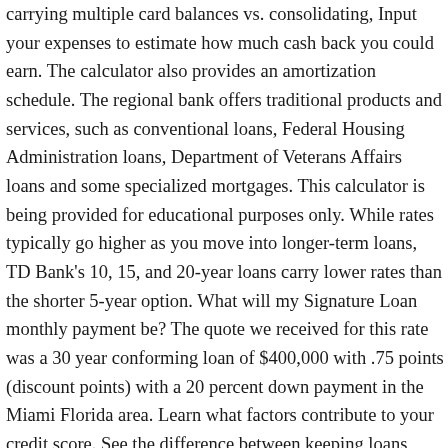carrying multiple card balances vs. consolidating, Input your expenses to estimate how much cash back you could earn. The calculator also provides an amortization schedule. The regional bank offers traditional products and services, such as conventional loans, Federal Housing Administration loans, Department of Veterans Affairs loans and some specialized mortgages. This calculator is being provided for educational purposes only. While rates typically go higher as you move into longer-term loans, TD Bank's 10, 15, and 20-year loans carry lower rates than the shorter 5-year option. What will my Signature Loan monthly payment be? The quote we received for this rate was a 30 year conforming loan of $400,000 with .75 points (discount points) with a 20 percent down payment in the Miami Florida area. Learn what factors contribute to your credit score. See the difference between keeping loans separate or consolidating. The main reason to take out a home equity loan is that it offers a cheaper way of borrowing cash than an unsecured personal